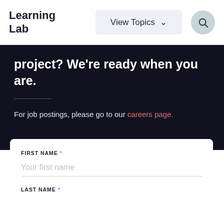Learning Lab
project? We're ready when you are.
For job postings, please go to our careers page.
FIRST NAME *
Your first name
LAST NAME *